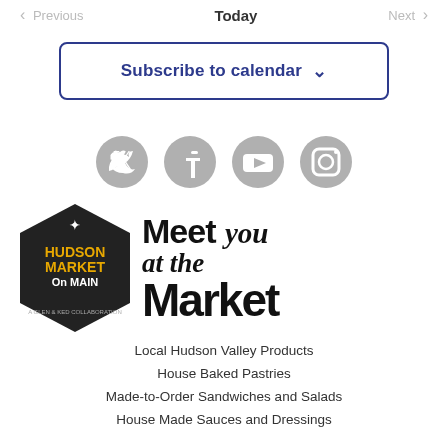← Previous   Today   Next →
Subscribe to calendar ∨
[Figure (illustration): Social media icons: Twitter, Facebook, YouTube, Instagram — all grey circles]
[Figure (logo): Hudson Market on Main hexagon logo with text 'Meet you at the Market']
Local Hudson Valley Products
House Baked Pastries
Made-to-Order Sandwiches and Salads
House Made Sauces and Dressings